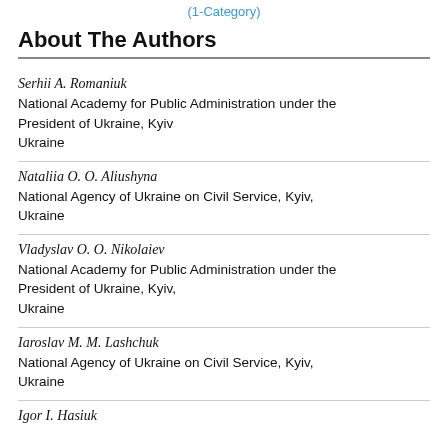(1-Category)
About The Authors
Serhii A. Romaniuk
National Academy for Public Administration under the President of Ukraine, Kyiv
Ukraine
Nataliia O. O. Aliushyna
National Agency of Ukraine on Civil Service, Kyiv, Ukraine
Vladyslav O. O. Nikolaiev
National Academy for Public Administration under the President of Ukraine, Kyiv,
Ukraine
Iaroslav M. M. Lashchuk
National Agency of Ukraine on Civil Service, Kyiv, Ukraine
Igor I. Hasiuk